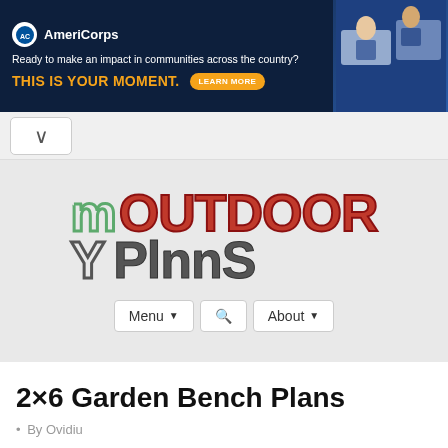[Figure (other): AmeriCorps advertisement banner with dark navy background. Logo with white circle and 'AmeriCorps' text. Tagline 'Ready to make an impact in communities across the country?' in white. 'THIS IS YOUR MOMENT.' in orange/yellow bold text. 'LEARN MORE' button in orange pill shape. Photo of people working at computers on the right.]
[Figure (logo): My Outdoor Plans website logo. 'M' in outlined green style, 'OUTDOOR' in bold red with outline, second row 'Y' in outlined dark style, 'PLANS' in bold dark gray. Navigation buttons: Menu with dropdown, Search icon, About with dropdown.]
2×6 Garden Bench Plans
• By Ovidiu